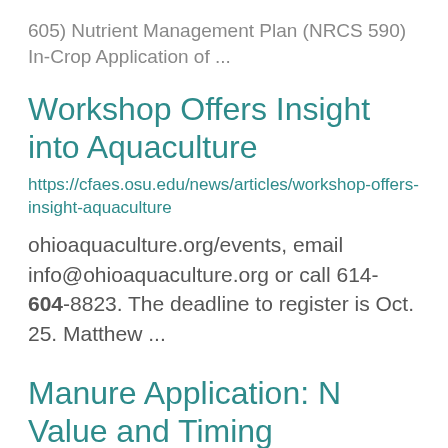605) Nutrient Management Plan (NRCS 590) In-Crop Application of ...
Workshop Offers Insight into Aquaculture
https://cfaes.osu.edu/news/articles/workshop-offers-insight-aquaculture
ohioaquaculture.org/events, email info@ohioaquaculture.org or call 614-604-8823. The deadline to register is Oct. 25. Matthew ...
Manure Application: N Value and Timing
https://...